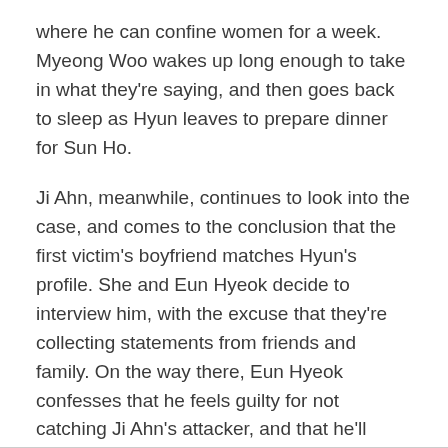where he can confine women for a week. Myeong Woo wakes up long enough to take in what they're saying, and then goes back to sleep as Hyun leaves to prepare dinner for Sun Ho.
Ji Ahn, meanwhile, continues to look into the case, and comes to the conclusion that the first victim's boyfriend matches Hyun's profile. She and Eun Hyeok decide to interview him, with the excuse that they're collecting statements from friends and family. On the way there, Eun Hyeok confesses that he feels guilty for not catching Ji Ahn's attacker, and that he'll dedicate himself to that case when the current one ends. Ji Ahn is reluctant, since she knows her time at Hyun's house will come to an end when her attacker is caught.